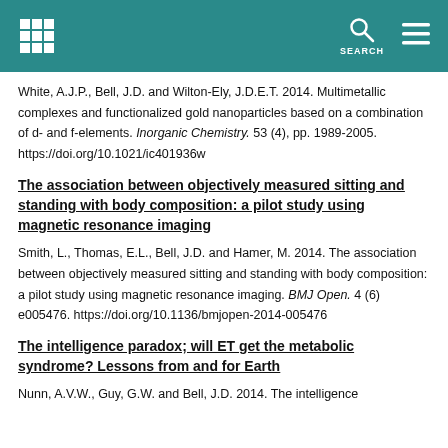SEARCH
White, A.J.P., Bell, J.D. and Wilton-Ely, J.D.E.T. 2014. Multimetallic complexes and functionalized gold nanoparticles based on a combination of d- and f-elements. Inorganic Chemistry. 53 (4), pp. 1989-2005. https://doi.org/10.1021/ic401936w
The association between objectively measured sitting and standing with body composition: a pilot study using magnetic resonance imaging
Smith, L., Thomas, E.L., Bell, J.D. and Hamer, M. 2014. The association between objectively measured sitting and standing with body composition: a pilot study using magnetic resonance imaging. BMJ Open. 4 (6) e005476. https://doi.org/10.1136/bmjopen-2014-005476
The intelligence paradox; will ET get the metabolic syndrome? Lessons from and for Earth
Nunn, A.V.W., Guy, G.W. and Bell, J.D. 2014. The intelligence